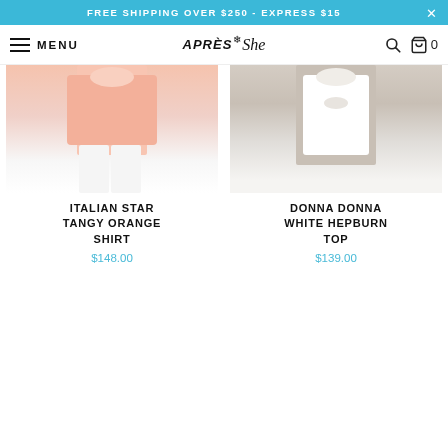FREE SHIPPING OVER $250 - EXPRESS $15
MENU | Après She | Search | Cart 0
[Figure (photo): Product photo of Italian Star Tangy Orange Shirt - pink/orange top with white pants on a model, partially cropped]
ITALIAN STAR TANGY ORANGE SHIRT
$148.00
[Figure (photo): Product photo of Donna Donna White Hepburn Top - white top with beige background, model partially cropped]
DONNA DONNA WHITE HEPBURN TOP
$139.00